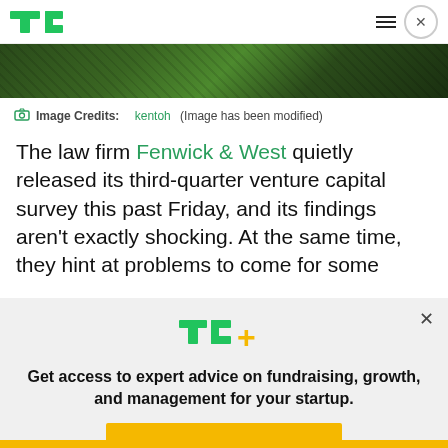TechCrunch logo and navigation
[Figure (photo): Green-tinted dollar bill / circuit pattern image strip]
Image Credits: kentoh (Image has been modified)
The law firm Fenwick & West quietly released its third-quarter venture capital survey this past Friday, and its findings aren't exactly shocking. At the same time, they hint at problems to come for some
[Figure (infographic): TC+ promotional overlay with logo, tagline 'Get access to expert advice on fundraising, growth, and management for your startup.' and EXPLORE NOW button]